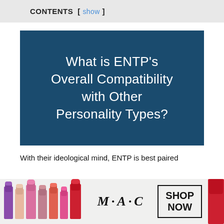CONTENTS [ show ]
[Figure (illustration): Dark blue rectangular banner image with white text reading: What is ENTP's Overall Compatibility with Other Personality Types?]
With their ideological mind, ENTP is best paired
[Figure (photo): MAC Cosmetics advertisement banner showing colorful lipsticks on the left, MAC logo in the center, and a SHOP NOW box on the right with a close button.]